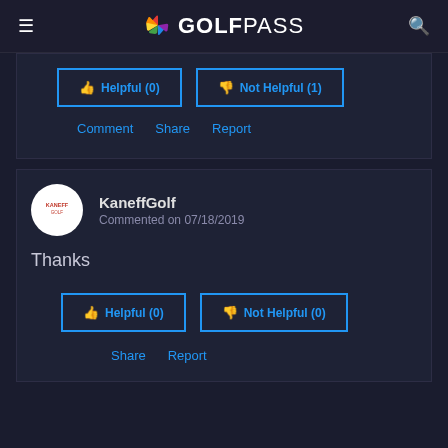GOLFPASS
[Figure (screenshot): Helpful (0) and Not Helpful (1) buttons in blue outlined style]
Comment   Share   Report
KaneffGolf
Commented on 07/18/2019
Thanks
[Figure (screenshot): Helpful (0) and Not Helpful (0) buttons in blue outlined style]
Share   Report